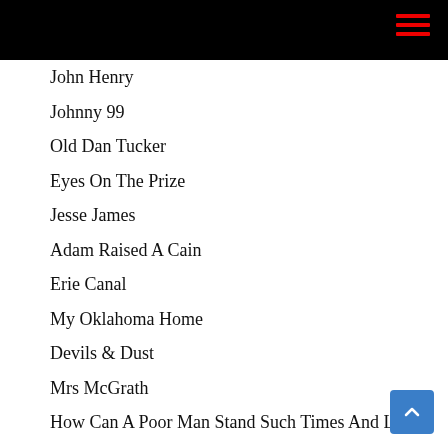John Henry
Johnny 99
Old Dan Tucker
Eyes On The Prize
Jesse James
Adam Raised A Cain
Erie Canal
My Oklahoma Home
Devils & Dust
Mrs McGrath
How Can A Poor Man Stand Such Times And Live?
Jacob's Ladder
We Shall Overcome
Open All Night
Pay Me My Money Down